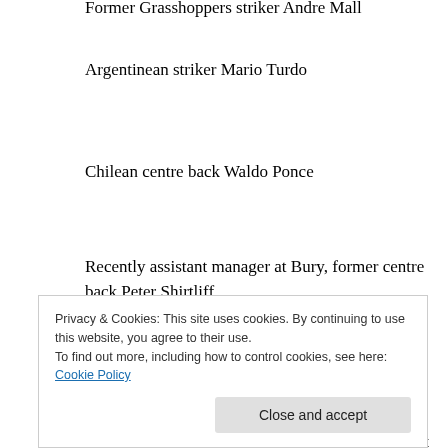Former Grasshoppers striker Andre Mall
Argentinean striker Mario Turdo
Chilean centre back Waldo Ponce
Recently assistant manager at Bury, former centre back Peter Shirtliff
One of Kevin Keegan’s worst signings, Dutch winger Brian Pinas
Finally retired at nearly 40, it’s a lasting regret that Czech defender Milan Fukal failed a week’s
Privacy & Cookies: This site uses cookies. By continuing to use this website, you agree to their use. To find out more, including how to control cookies, see here: Cookie Policy
A born disaster from the John Barnes/Kenny